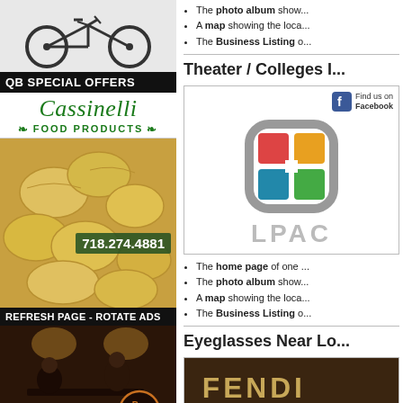[Figure (photo): Bicycle photo at top of left column]
QB SPECIAL OFFERS
[Figure (logo): Cassinelli Food Products logo with cursive green lettering and food products text with decorative elements]
[Figure (photo): Fresh pasta photo with phone number 718.274.4881 overlay and Fresh Pastas - Astoria Made / Click For Store Locations text]
REFRESH PAGE - ROTATE ADS
[Figure (photo): Bar interior photo with people playing pool and bar logo overlay]
The photo album show...
A map showing the loca...
The Business Listing o...
Theater / Colleges I...
[Figure (logo): LPAC logo with colorful four-square emblem and Find us on Facebook header]
The home page of one ...
The photo album show...
A map showing the loca...
The Business Listing o...
Eyeglasses Near Lo...
[Figure (photo): FENDI eyeglasses store sign photo]